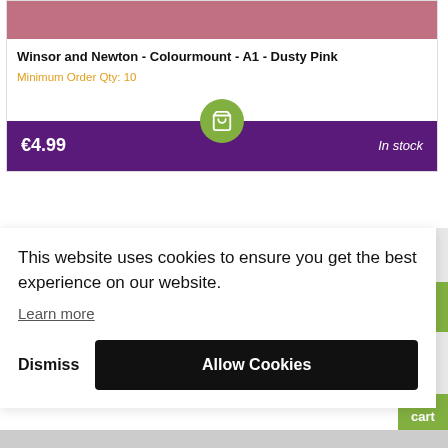[Figure (photo): Dusty pink colored rectangle representing product image of Winsor and Newton Colourmount A1 Dusty Pink]
Winsor and Newton - Colourmount - A1 - Dusty Pink
Minimum Order Qty: 10
€4.99
In stock
This website uses cookies to ensure you get the best experience on our website.
Learn more
Dismiss
Allow Cookies